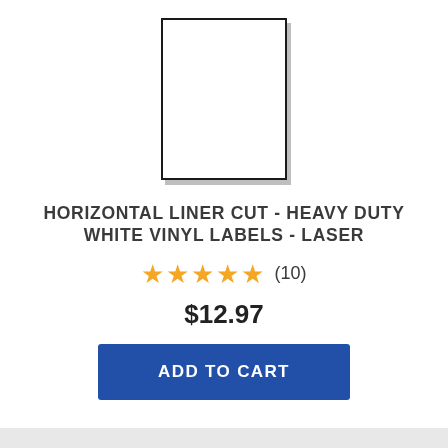[Figure (illustration): White rectangular label sheet with black border and subtle drop shadow, representing a blank label product.]
HORIZONTAL LINER CUT - HEAVY DUTY WHITE VINYL LABELS - LASER
★★★★★ (10)
$12.97
ADD TO CART